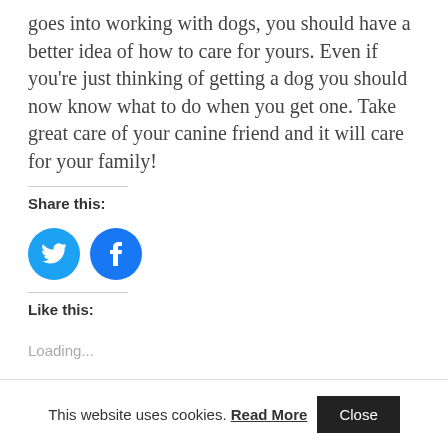goes into working with dogs, you should have a better idea of how to care for yours. Even if you're just thinking of getting a dog you should now know what to do when you get one. Take great care of your canine friend and it will care for your family!
Share this:
[Figure (other): Twitter and Facebook social share icon buttons (circular blue icons)]
Like this:
Loading...
This website uses cookies. Read More  Close